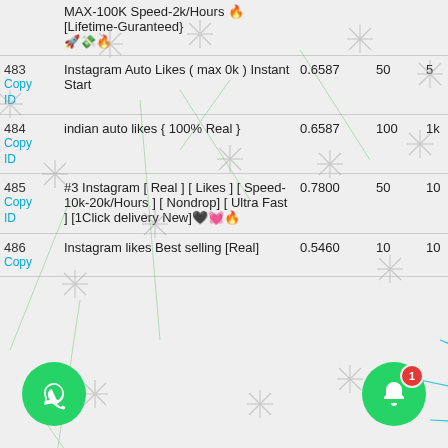| ID | Description | Price | Min | Max |
| --- | --- | --- | --- | --- |
|  | MAX-100K Speed-2k/Hours 🔥[Lifetime-Guranteed} 🚀💸🔥 |  |  |  |
| 483
Copy ID | Instagram Auto Likes ( max 0k ) Instant Start | 0.6587 | 50 | 5 |
| 484
Copy ID | indian auto likes { 100% Real } | 0.6587 | 100 | 1k |
| 485
Copy ID | #3 Instagram [ Real ] [ Likes ] [ Speed-10k-20k/Hours ] [ Nondrop] [ Ultra Fast ] [1Click delivery New]🖤💓🔥 | 0.7800 | 50 | 10 |
| 486
Copy ID | Instagram likes Best selling [Real] | 0.5460 | 10 | 10 |